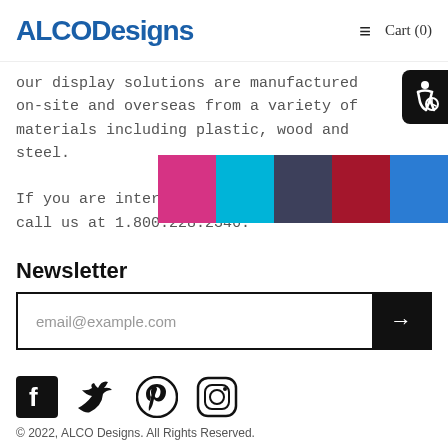ALCO Designs  ≡  Cart (0)
our display solutions are manufactured on-site and overseas from a variety of materials including plastic, wood and steel.

If you are interested in ordering, please call us at 1.800.228.2346.
[Figure (other): Five colored swatches: pink/magenta, cyan/light blue, dark blue/purple, dark red/crimson, medium blue]
Newsletter
[Figure (other): Email subscription input box with placeholder 'email@example.com' and a black submit button with right arrow]
[Figure (other): Social media icons: Facebook, Twitter, Pinterest, Instagram]
© 2022, ALCO Designs. All Rights Reserved.